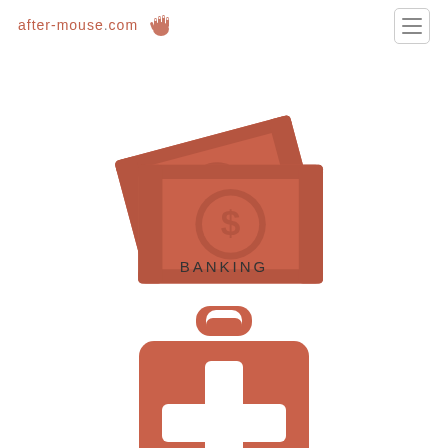after-mouse.com
[Figure (illustration): Money bills icon in terracotta/salmon color showing two overlapping banknotes with a dollar sign circle in the center]
BANKING
[Figure (illustration): First aid / medical kit icon in terracotta/salmon color showing a briefcase with a white cross symbol]